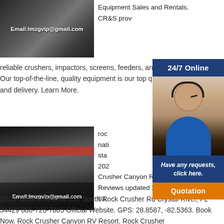[Figure (photo): Industrial equipment/machinery photo with email overlay text 'Email:lmzgvip@gmail.com']
Equipment Sales and Rentals. CR&S prov
[Figure (photo): Large industrial building/factory with mobile crushers in foreground and email overlay 'Email:lmzgvip@gmail.com']
reliable crushers, impactors, screens, feeders, and available. Our top-of-the-line, quality equipment is our top quality service and delivery. Learn More.
rock nati sta 202 Crusher Canyon RV Resort Reviews updated 2021. Feb 03, 2015· Write a Review. 237 South Rock Crusher Rd Crystal River, FL 34429 888-726-7805 Official Website. GPS: 28.8587, -82.5363. Book Now. Rock Crusher Canyon RV Resort. Rock Crusher
[Figure (infographic): 24/7 Online chat widget with woman wearing headset, 'Have any requests, click here.' text and Quotation button]